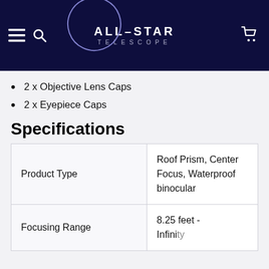ALL-STAR TELESCOPE
2 x Objective Lens Caps
2 x Eyepiece Caps
Specifications
|  |  |
| --- | --- |
| Product Type | Roof Prism, Center Focus, Waterproof binocular |
| Focusing Range | 8.25 feet - Infinity |